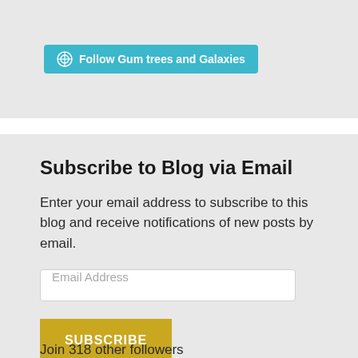[Figure (other): WordPress follow button with teal background reading 'Follow Gum trees and Galaxies']
Subscribe to Blog via Email
Enter your email address to subscribe to this blog and receive notifications of new posts by email.
Email Address
SUBSCRIBE
Join 318 other followers